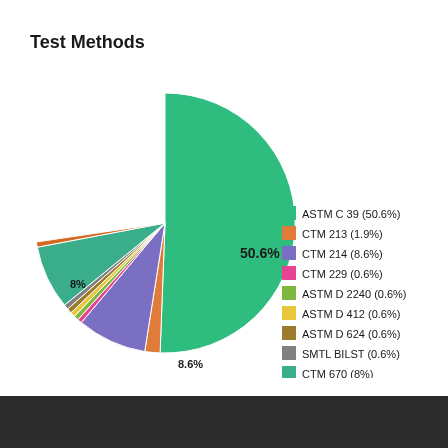Test Methods
[Figure (pie-chart): Test Methods]